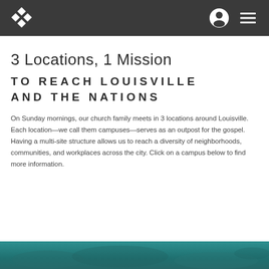Navigation bar with logo, user icon, and menu icon
3 Locations, 1 Mission
TO REACH LOUISVILLE AND THE NATIONS
On Sunday mornings, our church family meets in 3 locations around Louisville. Each location—we call them campuses—serves as an outpost for the gospel. Having a multi-site structure allows us to reach a diversity of neighborhoods, communities, and workplaces across the city. Click on a campus below to find more information.
[Figure (photo): Teal/dark cyan background image at the bottom of the page, appears to be an outdoor scene]